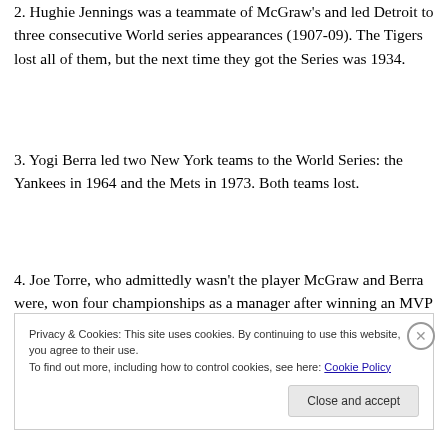2. Hughie Jennings was a teammate of McGraw's and led Detroit to three consecutive World series appearances (1907-09). The Tigers lost all of them, but the next time they got the Series was 1934.
3. Yogi Berra led two New York teams to the World Series: the Yankees in 1964 and the Mets in 1973. Both teams lost.
4. Joe Torre, who admittedly wasn't the player McGraw and Berra were, won four championships as a manager after winning an MVP as a player.
Privacy & Cookies: This site uses cookies. By continuing to use this website, you agree to their use.
To find out more, including how to control cookies, see here: Cookie Policy